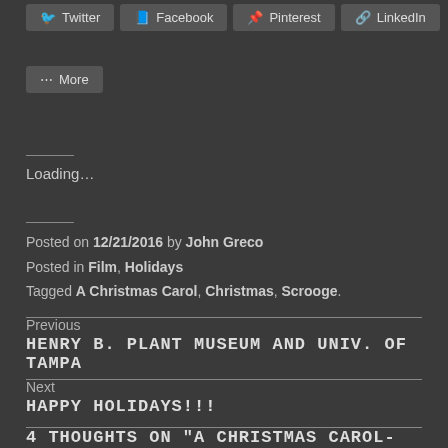Twitter
Facebook
Pinterest
LinkedIn
More
Loading...
Posted on 12/21/2016 by John Greco
Posted in Film, Holidays
Tagged A Christmas Carol, Christmas, Scrooge.
Previous
HENRY B. PLANT MUSEUM AND UNIV. OF TAMPA
Next
HAPPY HOLIDAYS!!!
4 THOUGHTS ON "A CHRISTMAS CAROL- FIVE